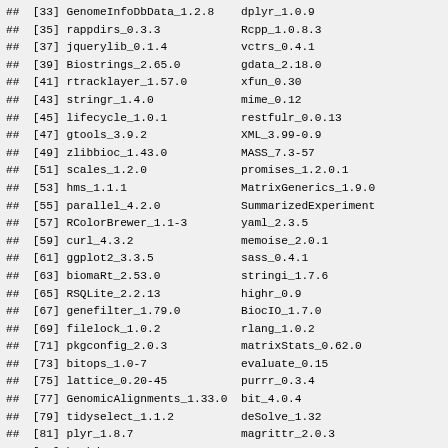## [33] GenomeInfoDbData_1.2.8    dplyr_1.0.9
## [35] rappdirs_0.3.3             Rcpp_1.0.8.3
## [37] jquerylib_0.1.4            vctrs_0.4.1
## [39] Biostrings_2.65.0          gdata_2.18.0
## [41] rtracklayer_1.57.0         xfun_0.30
## [43] stringr_1.4.0              mime_0.12
## [45] lifecycle_1.0.1            restfulr_0.0.13
## [47] gtools_3.9.2               XML_3.99-0.9
## [49] zlibbioc_1.43.0            MASS_7.3-57
## [51] scales_1.2.0               promises_1.2.0.1
## [53] hms_1.1.1                  MatrixGenerics_1.9.0
## [55] parallel_4.2.0             SummarizedExperiment
## [57] RColorBrewer_1.1-3         yaml_2.3.5
## [59] curl_4.3.2                 memoise_2.0.1
## [61] ggplot2_3.3.5              sass_0.4.1
## [63] biomaRt_2.53.0             stringi_1.7.6
## [65] RSQLite_2.2.13             highr_0.9
## [67] genefilter_1.79.0          BiocIO_1.7.0
## [69] filelock_1.0.2             rlang_1.0.2
## [71] pkgconfig_2.0.3            matrixStats_0.62.0
## [73] bitops_1.0-7               evaluate_0.15
## [75] lattice_0.20-45            purrr_0.3.4
## [77] GenomicAlignments_1.33.0   bit_4.0.4
## [79] tidyselect_1.1.2           deSolve_1.32
## [81] plyr_1.8.7                 magrittr_2.0.3
## [83] bookdown_0.26              DESeq2_1.37.0
## [85] ...                        ...